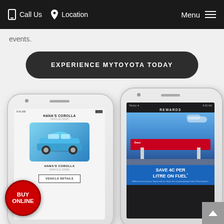Call Us  Location  Menu
events.
EXPERIENCE MYTOYOTA TODAY
[Figure (screenshot): Two smartphones showing the MyToyota app. Left phone shows a vehicle screen with a blue Toyota Corolla labeled HANA'S COROLLA with VEHICLE (NSW) subtitle and a VEHICLE DETAILS button. Right phone shows a dark REWARDS screen with an image of a fuel station and text SAVE 4c PER LITRE ON FUEL*.]
BUY ONLINE